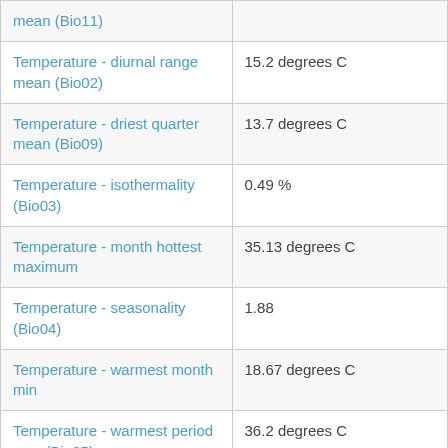| Variable | Value |
| --- | --- |
| mean (Bio11) |  |
| Temperature - diurnal range mean (Bio02) | 15.2 degrees C |
| Temperature - driest quarter mean (Bio09) | 13.7 degrees C |
| Temperature - isothermality (Bio03) | 0.49 % |
| Temperature - month hottest maximum | 35.13 degrees C |
| Temperature - seasonality (Bio04) | 1.88 |
| Temperature - warmest month min | 18.67 degrees C |
| Temperature - warmest period max (Bio05) | 36.2 degrees C |
| Temperature - warmest quarter (Bio10) | 27.0 degrees C |
| Temperature - wettest quarter | 27.0 degrees C |